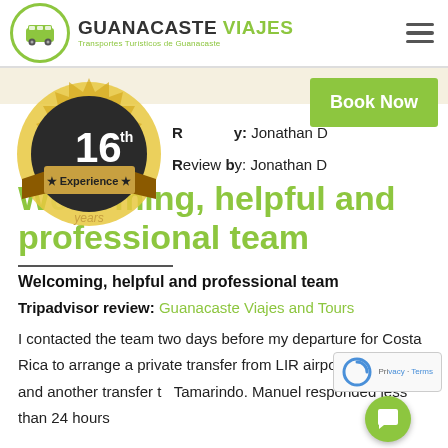GUANACASTE VIAJES — Transportes Turísticos de Guanacaste
[Figure (logo): Guanacaste Viajes logo with green circle bus icon and company name]
[Figure (illustration): 16th anniversary badge: dark circular badge with '16 th' text, '★ Experience ★' ribbon, and 'years' label]
Review by: Jonathan D
Welcoming, helpful and professional team
Welcoming, helpful and professional team
Tripadvisor review: Guanacaste Viajes and Tours
I contacted the team two days before my departure for Costa Rica to arrange a private transfer from LIR airport to my hotel and another transfer to Tamarindo. Manuel responded less than 24 hours